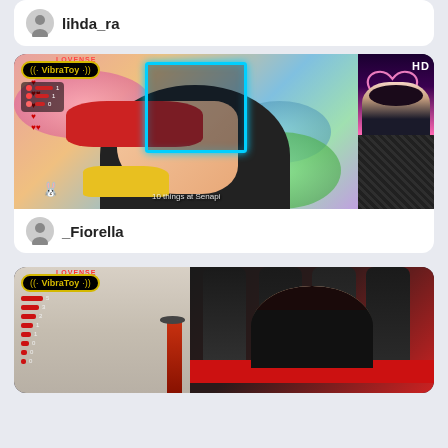lihda_ra
[Figure (screenshot): Live stream thumbnail showing _Fiorella's stream with anime content, VibraToy/Lovense overlay, and split screen with streamer camera on right side showing pink neon heart decoration and HD badge]
_Fiorella
[Figure (screenshot): Live stream thumbnail showing a second streamer's stream with VibraToy/Lovense overlay, stats panel on left side, and red gaming chair setup on right side with dark background]